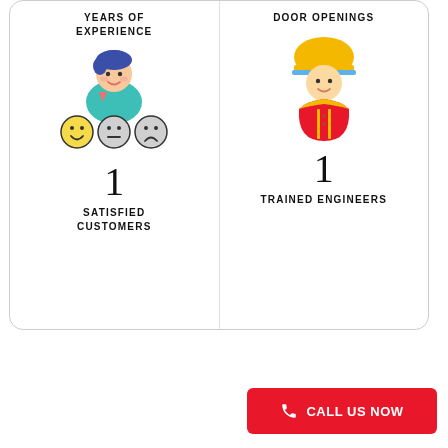YEARS OF EXPERIENCE
DOOR OPENINGS
[Figure (illustration): Cartoon person with customer satisfaction rating icons (happy, neutral, sad faces with a downward arrow), representing satisfied customers]
1
SATISFIED CUSTOMERS
[Figure (illustration): Cartoon engineer/worker wearing orange hard hat and red safety vest, representing trained engineers]
1
TRAINED ENGINEERS
CALL US NOW